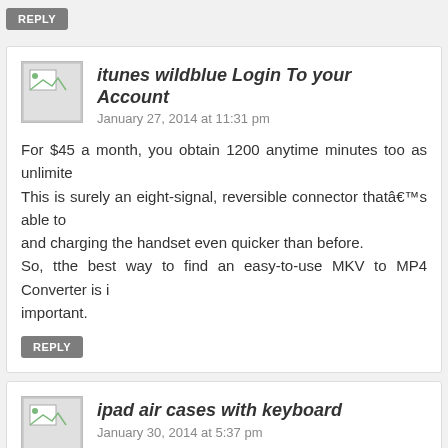[Figure (other): REPLY button at top of page]
itunes wildblue Login To your Account
January 27, 2014 at 11:31 pm
For $45 a month, you obtain 1200 anytime minutes too as unlimite This is surely an eight-signal, reversible connector thatâ€™s able to and charging the handset even quicker than before. So, tthe best way to find an easy-to-use MKV to MP4 Converter is i important.
[Figure (other): REPLY button]
ipad air cases with keyboard
January 30, 2014 at 5:37 pm
With i – Phone,i – Pad,i – Pod,Apple TV plays a crucial role within o people want to share their interesting video on those fammous dev Check the signal indicator in the top with the screen, if you will finc a 'No Service' indicator try waiting 10 minss or move to another loc service